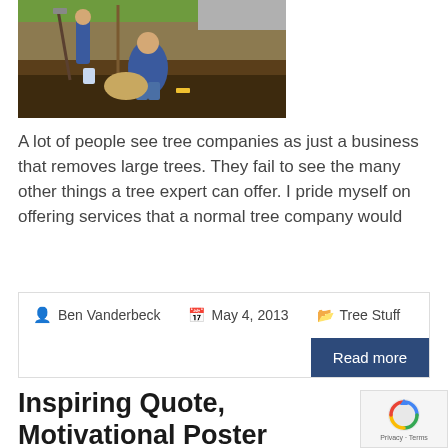[Figure (photo): Workers kneeling in mulch planting or staking a tree in a landscaping/commercial area, with green grass and a parking lot visible in background.]
A lot of people see tree companies as just a business that removes large trees. They fail to see the many other things a tree expert can offer. I pride myself on offering services that a normal tree company would
Ben Vanderbeck   May 4, 2013   Tree Stuff
Read more
Inspiring Quote, Motivational Poster